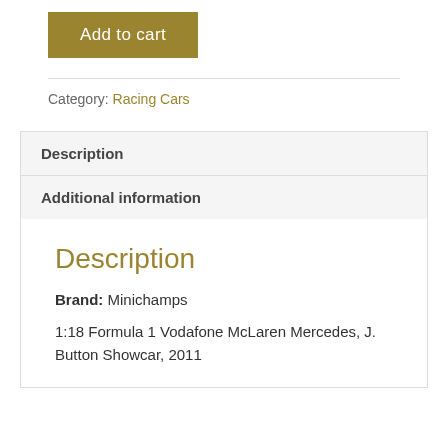Add to cart
Category: Racing Cars
Description
Additional information
Description
Brand: Minichamps
1:18 Formula 1 Vodafone McLaren Mercedes, J. Button Showcar, 2011